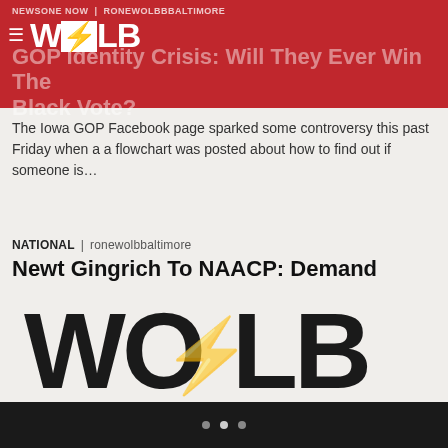NEWSONE NOW | ronewolbbbaltimore
GOP Identity Crisis: Will They Ever Win The Black Vote?
The Iowa GOP Facebook page sparked some controversy this past Friday when a a flowchart was posted about how to find out if someone is…
NATIONAL | ronewolbbaltimore
Newt Gingrich To NAACP: Demand Work, Not Food Stamps
What is up with Republicans and welfare? SEE ALSO: Crazy Celebrity Gifts GOP Candidates Go To NH First, it was Rick Santorum who said he didn't want to help blacks with welfare. Now it's Newt Gingrich's turn to alienate African Americans, TheGrio reports. Slate journalist Dave Weigel tweeted that Gingrich told an audience in New […]
[Figure (logo): Large WOLB logo watermark in dark text on light background with lightning bolt]
• • •